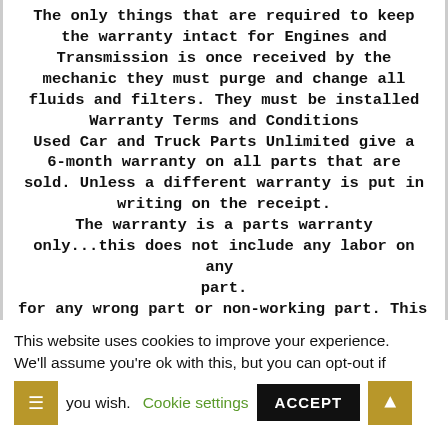The only things that are required to keep the warranty intact for Engines and Transmission is once received by the mechanic they must purge and change all fluids and filters. They must be installed
Warranty Terms and Conditions
Used Car and Truck Parts Unlimited give a 6-month warranty on all parts that are sold. Unless a different warranty is put in writing on the receipt.
The warranty is a parts warranty only...this does not include any labor on any part.
Used Car and Truck Parts Unlimited will pay any shipping expenses incurred for any wrong part or non-working part. This also
This website uses cookies to improve your experience. We'll assume you're ok with this, but you can opt-out if you wish.
Cookie settings
ACCEPT